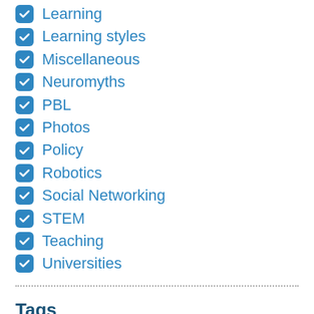Learning
Learning styles
Miscellaneous
Neuromyths
PBL
Photos
Policy
Robotics
Social Networking
STEM
Teaching
Universities
Tags